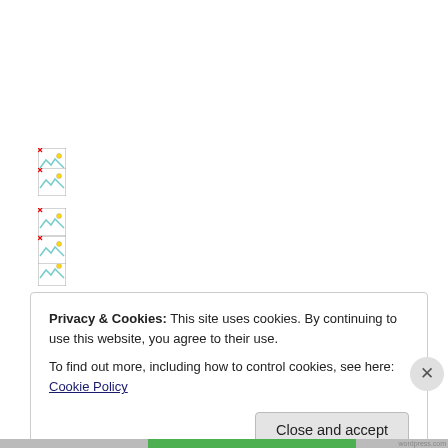[Figure (illustration): Broken image icon placeholder 1]
[Figure (illustration): Broken image icon placeholder 2]
[Figure (illustration): Broken image icon placeholder 3]
[Figure (illustration): Broken image icon placeholder 4]
[Figure (illustration): Broken image icon placeholder 5]
Privacy & Cookies: This site uses cookies. By continuing to use this website, you agree to their use.
To find out more, including how to control cookies, see here: Cookie Policy
Close and accept